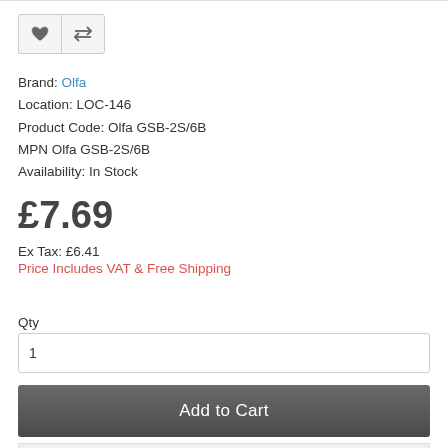[Figure (other): Two icon buttons: a heart (wishlist) icon and a compare arrows icon, styled as a button group with light grey background and border]
Brand: Olfa
Location: LOC-146
Product Code: Olfa GSB-2S/6B
MPN Olfa GSB-2S/6B
Availability: In Stock
£7.69
Ex Tax: £6.41
Price Includes VAT & Free Shipping
Qty
1
Add to Cart